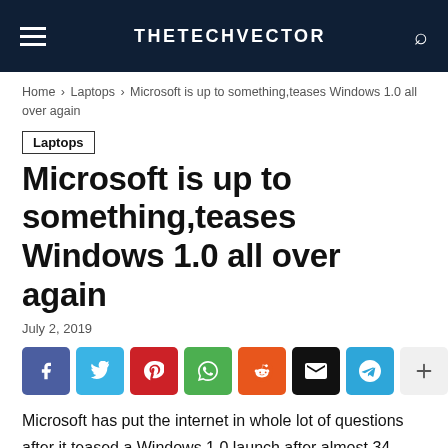THETECHVECTOR
Home › Laptops › Microsoft is up to something,teases Windows 1.0 all over again
Laptops
Microsoft is up to something,teases Windows 1.0 all over again
July 2, 2019
[Figure (infographic): Social sharing buttons row: Facebook, Twitter, Pinterest, WhatsApp, Reddit, Email, Telegram, plus icon]
Microsoft has put the internet in whole lot of questions after it teased a Windows 1.0 launch after almost 34 years.